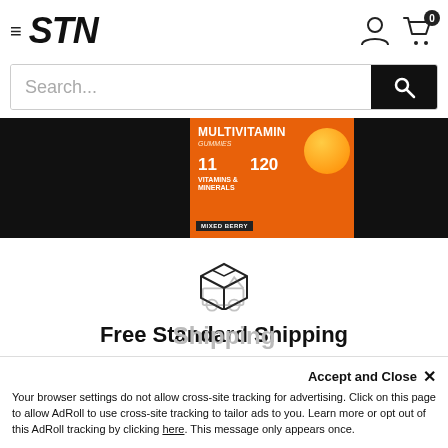STN — hamburger menu, user icon, cart (0)
Search...
[Figure (photo): Banner strip with STN Multivitamin Gummies product container on orange background, flanked by dark/black panels]
Free Standard Shipping
on orders over $49.99
Accept and Close ×
Your browser settings do not allow cross-site tracking for advertising. Click on this page to allow AdRoll to use cross-site tracking to tailor ads to you. Learn more or opt out of this AdRoll tracking by clicking here. This message only appears once.